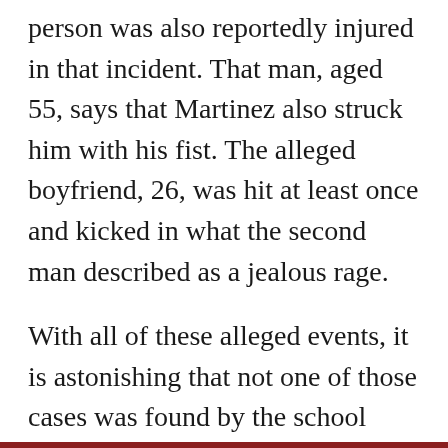person was also reportedly injured in that incident. That man, aged 55, says that Martinez also struck him with his fist. The alleged boyfriend, 26, was hit at least once and kicked in what the second man described as a jealous rage.
With all of these alleged events, it is astonishing that not one of those cases was found by the school district before hiring Martinez.